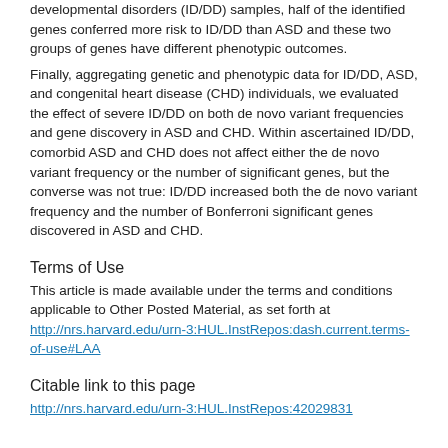developmental disorders (ID/DD) samples, half of the identified genes conferred more risk to ID/DD than ASD and these two groups of genes have different phenotypic outcomes.
Finally, aggregating genetic and phenotypic data for ID/DD, ASD, and congenital heart disease (CHD) individuals, we evaluated the effect of severe ID/DD on both de novo variant frequencies and gene discovery in ASD and CHD. Within ascertained ID/DD, comorbid ASD and CHD does not affect either the de novo variant frequency or the number of significant genes, but the converse was not true: ID/DD increased both the de novo variant frequency and the number of Bonferroni significant genes discovered in ASD and CHD.
Terms of Use
This article is made available under the terms and conditions applicable to Other Posted Material, as set forth at http://nrs.harvard.edu/urn-3:HUL.InstRepos:dash.current.terms-of-use#LAA
Citable link to this page
http://nrs.harvard.edu/urn-3:HUL.InstRepos:42029831
Collections
FAS Theses and Dissertations [6901]